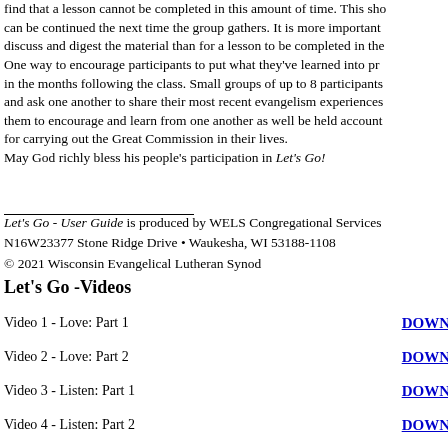find that a lesson cannot be completed in this amount of time. This should can be continued the next time the group gathers. It is more important to discuss and digest the material than for a lesson to be completed in the time. One way to encourage participants to put what they've learned into practice in the months following the class. Small groups of up to 8 participants meet and ask one another to share their most recent evangelism experiences to help them to encourage and learn from one another as well be held accountable for carrying out the Great Commission in their lives.
May God richly bless his people's participation in Let's Go!
Let's Go - User Guide is produced by WELS Congregational Services
N16W23377 Stone Ridge Drive • Waukesha, WI 53188-1108
© 2021 Wisconsin Evangelical Lutheran Synod
Let's Go -Videos
Video 1 - Love: Part 1
Video 2 - Love: Part 2
Video 3 - Listen: Part 1
Video 4 - Listen: Part 2
Video 5 - Listen: Part 3